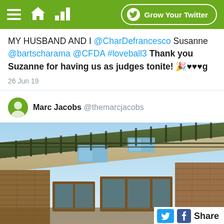[Figure (screenshot): Green navigation top bar with hamburger menu, home icon, bar chart icon, and 'Grow Your Twitter' button]
MY HUSBAND AND I @CharDefrancesco Susanne @bartscharama @CFDA #loveball3 Thank you Suzanne for having us as judges tonite! 🎉♥♥♥g
26 Jun 19
Marc Jacobs @themarcjacobs
[Figure (photo): Architectural photo of a building with stone walls, flat overhanging roof, skylights, and wooden-framed windows against a blue sky]
[Figure (screenshot): Share bar with Twitter and Facebook icons and 'Share' text]